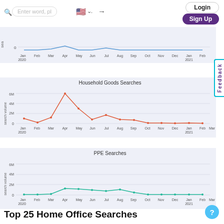Enter word, pl [US flag] v . → Login | Sign Up
[Figure (line-chart): ]
[Figure (line-chart): Household Goods Searches]
[Figure (line-chart): PPE Searches]
Top 25 Home Office Searches